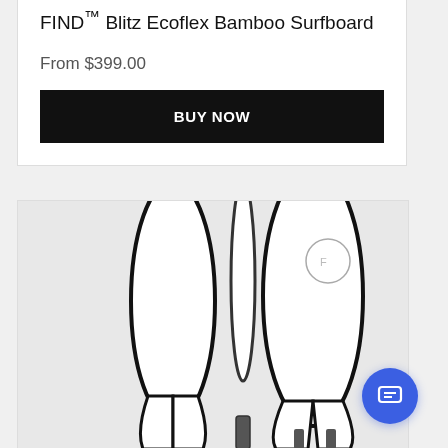FIND™ Blitz Ecoflex Bamboo Surfboard
From $399.00
BUY NOW
[Figure (photo): Bottom fins of two surfboards photographed from above against white background]
close
Hi there. Have a question? Text us here.